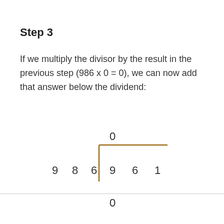Step 3
If we multiply the divisor by the result in the previous step (986 x 0 = 0), we can now add that answer below the dividend:
[Figure (math-figure): Long division diagram showing 961 divided by 986. The quotient 0 is shown above the division bracket. The digits 9, 8, 6 are the divisor on the left, and 9, 6, 1 are the dividend inside the bracket. Below the dividend, a 0 is shown as the subtraction result.]